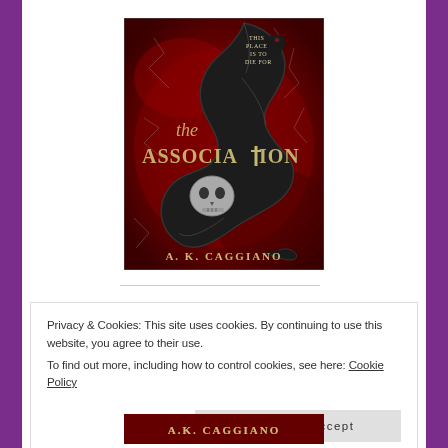[Figure (illustration): Book cover for 'the ASSOCIATION' by A. K. Caggiano. Dark red background with cracked lightning texture, a large black coiled snake wrapped around a skull, gothic lettering. Text on cover: 'THIS PLACE IS TO DIE FOR', 'the ASSOCIATION', 'A. K. CAGGIANO'.]
Privacy & Cookies: This site uses cookies. By continuing to use this website, you agree to their use.
To find out more, including how to control cookies, see here: Cookie Policy
Close and accept